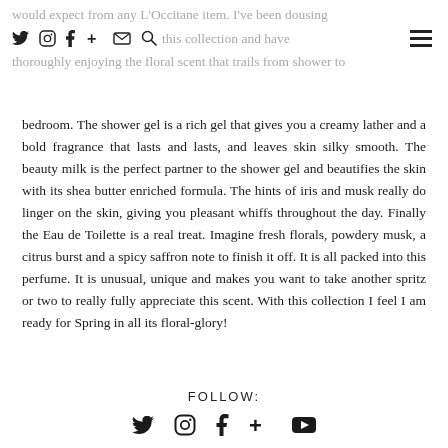would expect from any L'Occitane item. I've been dousing [social media icons] this collection and have thoroughly enjoying the floral scent that trails from shower to
bedroom. The shower gel is a rich gel that gives you a creamy lather and a bold fragrance that lasts and lasts, and leaves skin silky smooth. The beauty milk is the perfect partner to the shower gel and beautifies the skin with its shea butter enriched formula. The hints of iris and musk really do linger on the skin, giving you pleasant whiffs throughout the day. Finally the Eau de Toilette is a real treat. Imagine fresh florals, powdery musk, a citrus burst and a spicy saffron note to finish it off. It is all packed into this perfume. It is unusual, unique and makes you want to take another spritz or two to really fully appreciate this scent. With this collection I feel I am ready for Spring in all its floral-glory!
FOLLOW:
[Figure (other): Social media icons row: Twitter, Instagram, Facebook, Google+, YouTube]